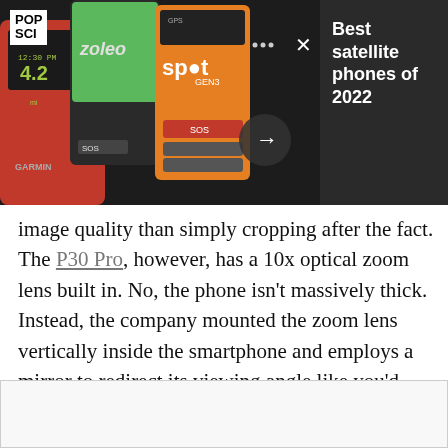[Figure (photo): Composite image of satellite phones including a Garmin device, Zoleo device, SPOT Gen3 orange device, and a black phone/device, shown in a dark-themed image gallery UI with navigation arrow and X button. POP SCI logo visible. Title 'Best satellite phones of 2022' shown on dark right panel.]
image quality than simply cropping after the fact. The P30 Pro, however, has a 10x optical zoom lens built in. No, the phone isn't massively thick. Instead, the company mounted the zoom lens vertically inside the smartphone and employs a mirror to redirect its viewing angle like you'd expect from a periscope. Combined with some rather impressive digital